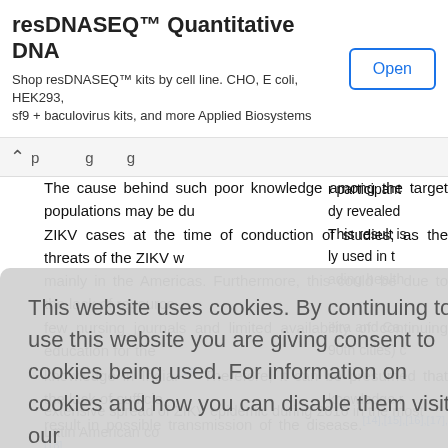[Figure (screenshot): Advertisement banner for resDNASEQ Quantitative DNA kits with an Open button]
The cause behind such poor knowledge among the target populations may be due to fewer ZIKV cases at the time of conduction of studies; as the threats of the ZIKV were reported mainly in the Americas. Furthermore, this could be due to the lack of resources such as few nursing journals and limited availability of continuing education for them to improve knowledge in India.[13] Therefore, it can be presumed that the lack of sufficient knowledge may result in possible transmission of the disease.[14],[15],[16],[17],[18]
participants study revealed This result is ly used in t ading health eira and Ca 90th cities) c knowledge m extensive spread of ZIKV epidemic during 2016 in the most Latin American co
This website uses cookies. By continuing to use this website you are giving consent to cookies being used. For information on cookies and how you can disable them visit our Privacy and Cookie Policy. AGREE & PROCEED